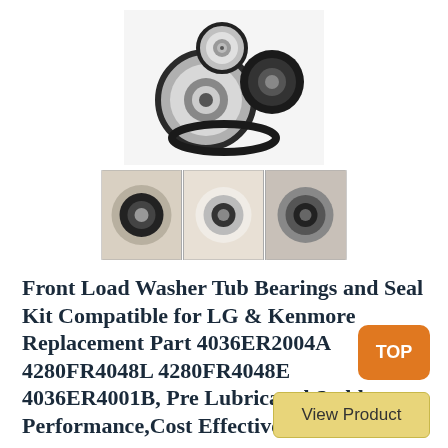[Figure (photo): Product photo showing washer tub bearing kit — two bearings and a round seal/gasket on white background]
[Figure (photo): Three panel strip photo showing close-up views of washer tub bearings installed]
Front Load Washer Tub Bearings and Seal Kit Compatible for LG & Kenmore Replacement Part 4036ER2004A 4280FR4048L 4280FR4048E 4036ER4001B, Pre Lubricated,Stable Performance,Cost Effective
TOP
View Product